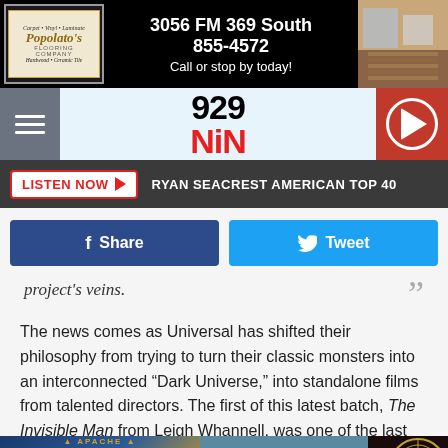[Figure (other): Top advertisement banner for a flooring company: logo on left, text '3056 FM 369 South 855-4572 Call or stop by today!' in center, room photo on right]
929 NIN radio station header with hamburger menu, logo, and play button
[Figure (other): Listen Now button with red border and text 'LISTEN NOW' followed by 'RYAN SEACREST AMERICAN TOP 40' on dark background]
[Figure (other): Social share buttons: blue Facebook Share button and light blue Twitter Tweet button]
project's veins.
The news comes as Universal has shifted their philosophy from trying to turn their classic monsters into an interconnected “Dark Universe,” into standalone films from talented directors. The first of this latest batch, The Invisible Man from Leigh Whannell, was one of the last hits in movie theaters before they closed due to the pandemic. (Whannell
[Figure (other): Bottom advertisement banner for Apache Casino Hotel Lawton OK with 'YOUR ENTERTAINMENT DESTINATION' text and casino imagery]